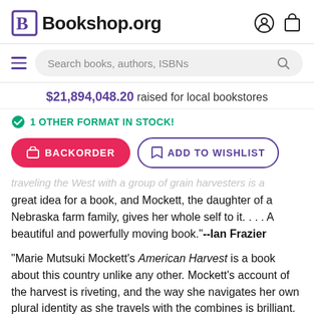Bookshop.org
$21,894,048.20 raised for local bookstores
1 OTHER FORMAT IN STOCK!
BACKORDER
ADD TO WISHLIST
...Traveling the West with a group of grain harvesters is a great idea for a book, and Mockett, the daughter of a Nebraska farm family, gives her whole self to it. . . . A beautiful and powerfully moving book."--Ian Frazier
"Marie Mutsuki Mockett's American Harvest is a book about this country unlike any other. Mockett's account of the harvest is riveting, and the way she navigates her own plural identity as she travels with the combines is brilliant. This is a stunning, astonishing